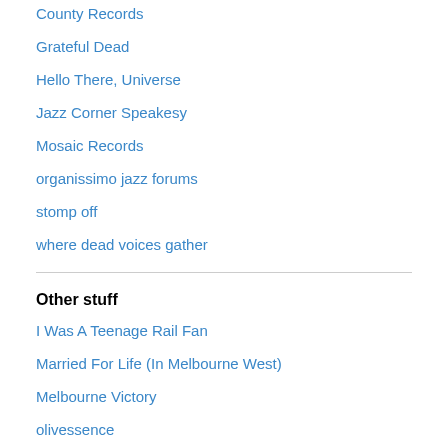County Records
Grateful Dead
Hello There, Universe
Jazz Corner Speakesy
Mosaic Records
organissimo jazz forums
stomp off
where dead voices gather
Other stuff
I Was A Teenage Rail Fan
Married For Life (In Melbourne West)
Melbourne Victory
olivessence
Seddon Festival
Strangeloves
Sumeyya Ilanbey
Sunshine Residents & Ratepayers Association